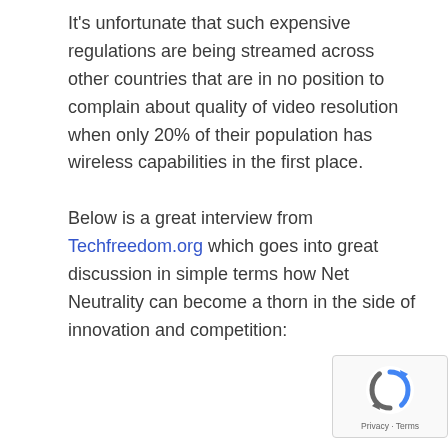It's unfortunate that such expensive regulations are being streamed across other countries that are in no position to complain about quality of video resolution when only 20% of their population has wireless capabilities in the first place.
Below is a great interview from Techfreedom.org which goes into great discussion in simple terms how Net Neutrality can become a thorn in the side of innovation and competition:
[Figure (other): Google reCAPTCHA badge with recycle arrow logo and Privacy/Terms links]